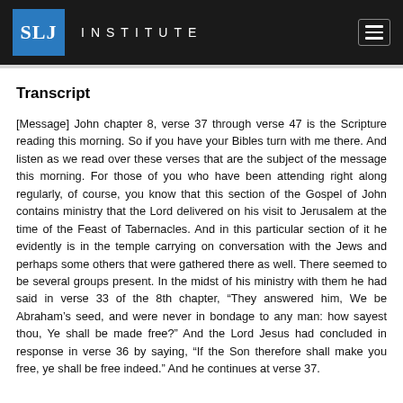SLJ INSTITUTE
Transcript
[Message] John chapter 8, verse 37 through verse 47 is the Scripture reading this morning. So if you have your Bibles turn with me there. And listen as we read over these verses that are the subject of the message this morning. For those of you who have been attending right along regularly, of course, you know that this section of the Gospel of John contains ministry that the Lord delivered on his visit to Jerusalem at the time of the Feast of Tabernacles. And in this particular section of it he evidently is in the temple carrying on conversation with the Jews and perhaps some others that were gathered there as well. There seemed to be several groups present. In the midst of his ministry with them he had said in verse 33 of the 8th chapter, “They answered him, We be Abraham’s seed, and were never in bondage to any man: how sayest thou, Ye shall be made free?” And the Lord Jesus had concluded in response in verse 36 by saying, “If the Son therefore shall make you free, ye shall be free indeed.” And he continues at verse 37.